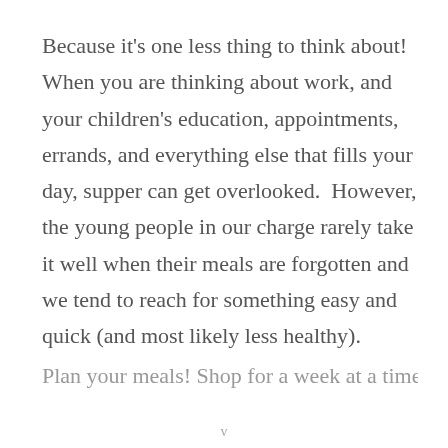Because it's one less thing to think about!  When you are thinking about work, and your children's education, appointments, errands, and everything else that fills your day, supper can get overlooked.  However, the young people in our charge rarely take it well when their meals are forgotten and we tend to reach for something easy and quick (and most likely less healthy).
Plan your meals! Shop for a week at a time or...
v